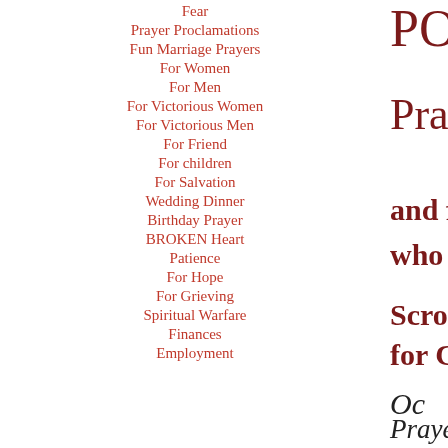Fear
Prayer Proclamations
Fun Marriage Prayers
For Women
For Men
For Victorious Women
For Victorious Men
For Friend
For children
For Salvation
Wedding Dinner
Birthday Prayer
BROKEN Heart
Patience
For Hope
For Grieving
Spiritual Warfare
Finances
Employment
PO
Prayer for Pe
and for th
who are su
Scroll down f
for Christian
Oc
Prayer
for its current i
Nick was bor